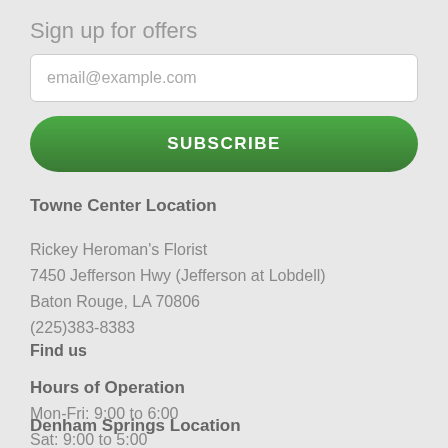Sign up for offers
email@example.com
SUBSCRIBE
Towne Center Location
Rickey Heroman's Florist
7450 Jefferson Hwy (Jefferson at Lobdell)
Baton Rouge, LA 70806
(225)383-8383
Find us
Hours of Operation
Mon-Fri: 9:00 to 6:00
Sat: 9:00 to 5:00
Sun: Noon to 4:00
Denham Springs Location